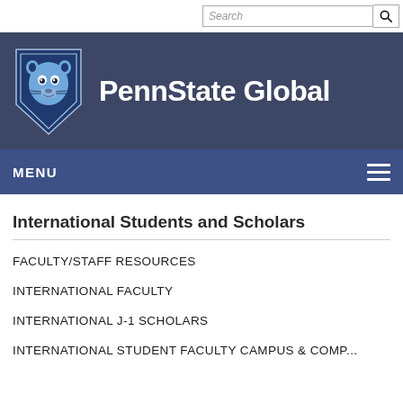[Figure (screenshot): Search bar with text input and magnifying glass icon]
[Figure (logo): Penn State Global header banner with Nittany Lion shield logo and 'PennState Global' text in white on dark blue/slate background]
[Figure (screenshot): Navigation bar with MENU label on left and hamburger icon on right, dark blue background]
International Students and Scholars
FACULTY/STAFF RESOURCES
INTERNATIONAL FACULTY
INTERNATIONAL J-1 SCHOLARS
INTERNATIONAL STUDENT FACULTY CAMPUS & COMP...